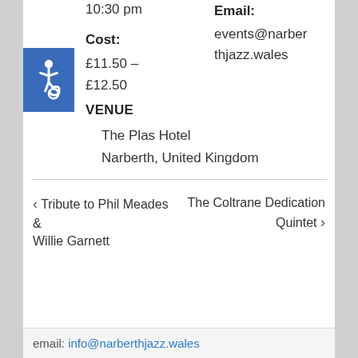10:30 pm
Email:
Cost:
events@narberthjazz.wales
£11.50 – £12.50
VENUE
The Plas Hotel
Narberth, United Kingdom
‹ Tribute to Phil Meades & Willie Garnett
The Coltrane Dedication Quintet ›
email: info@narberthjazz.wales